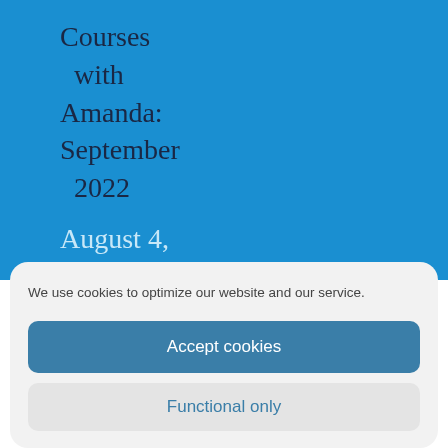Courses with Amanda: September 2022
August 4, 2022
We use cookies to optimize our website and our service.
Accept cookies
Functional only